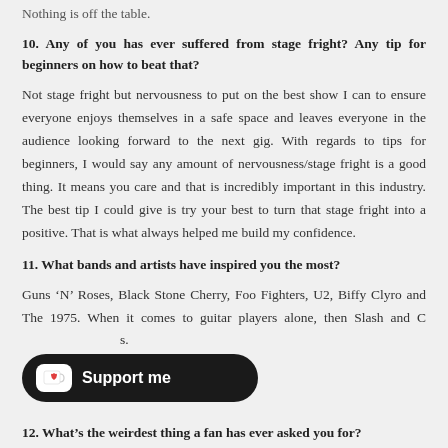Nothing is off the table.
10. Any of you has ever suffered from stage fright? Any tip for beginners on how to beat that?
Not stage fright but nervousness to put on the best show I can to ensure everyone enjoys themselves in a safe space and leaves everyone in the audience looking forward to the next gig. With regards to tips for beginners, I would say any amount of nervousness/stage fright is a good thing. It means you care and that is incredibly important in this industry. The best tip I could give is try your best to turn that stage fright into a positive. That is what always helped me build my confidence.
11. What bands and artists have inspired you the most?
Guns ‘N’ Roses, Black Stone Cherry, Foo Fighters, U2, Biffy Clyro and The 1975. When it comes to guitar players alone, then Slash and C... [s].
[Figure (other): Support me button with Ko-fi style icon (coffee cup with heart) on dark rounded rectangle background]
12. What’s the weirdest thing a fan has ever asked you for?